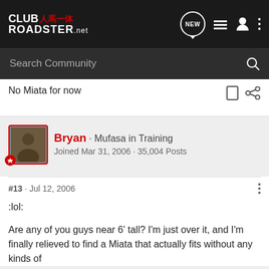CLUB ROADSTER.net
Search Community
No Miata for now
Bryan · Mufasa in Training
Joined Mar 31, 2006 · 35,004 Posts
#13 · Jul 12, 2006
:lol:
Are any of you guys near 6' tall? I'm just over it, and I'm finally relieved to find a Miata that actually fits without any kinds of